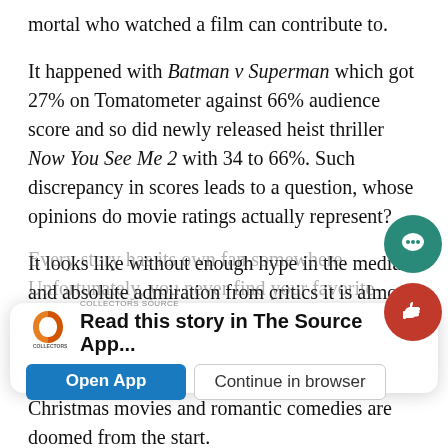mortal who watched a film can contribute to.
It happened with Batman v Superman which got 27% on Tomatometer against 66% audience score and so did newly released heist thriller Now You See Me 2 with 34 to 66%. Such discrepancy in scores leads to a question, whose opinions do movie ratings actually represent?
It looks like without enough hype in the media and absolute admiration from critics it is almost impossible to receive a good rating. Such system pushes down most of the non-blockbuster movies. So the majority of low budget films, Christmas movies and romantic comedies are doomed from the start.
Every story has its own fan somewhere. Unfortunately, you never find your favorite movie just because critics bashed it, and your friends followed. Do not miss out something you may like just because others say you
[Figure (screenshot): The Source App promotional banner with logo, bold text 'Read this story in The Source App...', Open App button, and Continue in browser button. Two circular icons (chat and like/thumbs up) on the right side.]